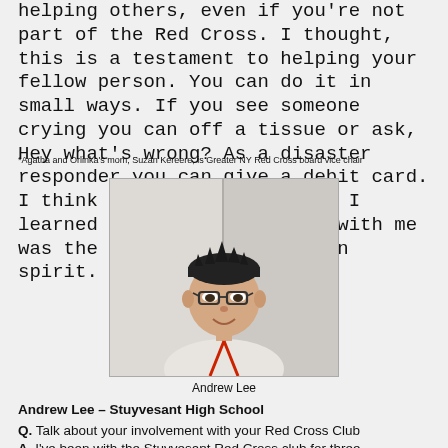helping others, even if you're not part of the Red Cross. I thought, this is a testament to helping your fellow person. You can do it in small ways. If you see someone crying you can off a tissue or ask, Hey what's wrong? As a disaster responder you can give a debit card. I think the number one thing I learned that struck a chord with me was the strength of the human spirit.
*Agatha and Orlinka's mom, Suzan Kereere, is Greater NY Red Cross board vice chair
[Figure (photo): Photo of Andrew Lee, a young Asian man with glasses, dark spiky hair, wearing a white shirt and red lanyard, standing in front of a white door.]
Andrew Lee
Andrew Lee – Stuyvesant High School
Q. Talk about your involvement with your Red Cross Club
A. I've been with the Stuyvesant Red Cross club for three